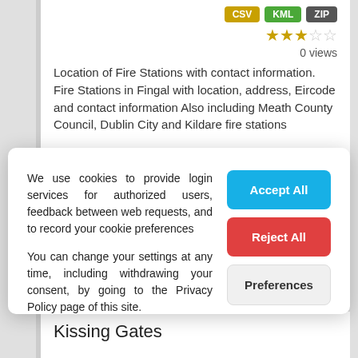CSV KML ZIP
0 views
Location of Fire Stations with contact information. Fire Stations in Fingal with location, address, Eircode and contact information Also including Meath County Council, Dublin City and Kildare fire stations
We use cookies to provide login services for authorized users, feedback between web requests, and to record your cookie preferences
You can change your settings at any time, including withdrawing your consent, by going to the Privacy Policy page of this site.
Accept All
Reject All
Preferences
Kissing Gates